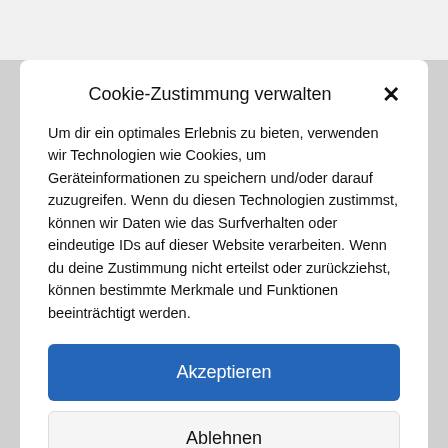Cookie-Zustimmung verwalten
Um dir ein optimales Erlebnis zu bieten, verwenden wir Technologien wie Cookies, um Geräteinformationen zu speichern und/oder darauf zuzugreifen. Wenn du diesen Technologien zustimmst, können wir Daten wie das Surfverhalten oder eindeutige IDs auf dieser Website verarbeiten. Wenn du deine Zustimmung nicht erteilst oder zurückziehst, können bestimmte Merkmale und Funktionen beeinträchtigt werden.
Akzeptieren
Ablehnen
Einstellungen ansehen
Matomo/Cookie   Datenschutzerklärung   Impressum